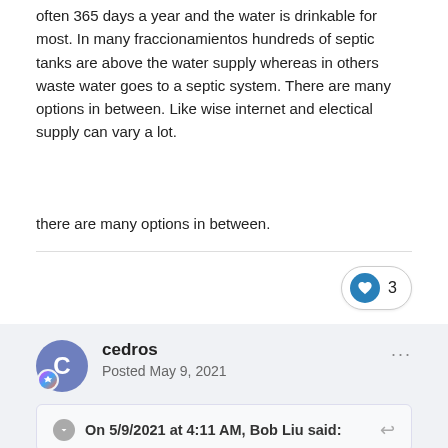often 365 days a year and the water is drinkable for most. In many fraccionamientos hundreds of septic tanks are above the water supply whereas in others waste water goes to a septic system.  There are many options in between. Like wise internet and electical supply can vary a lot.
there are many options in between.
3
cedros
Posted May 9, 2021
On 5/9/2021 at 4:11 AM, Bob Liu said: